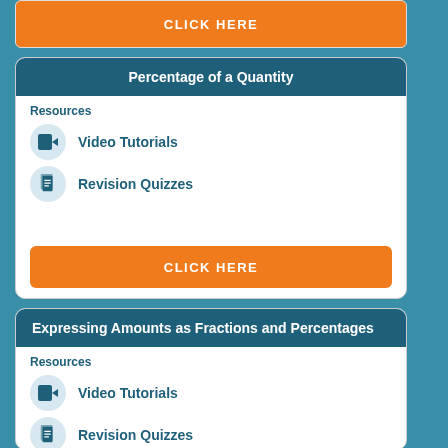[Figure (other): Orange CLICK HERE button (partial, top of page)]
Percentage of a Quantity
Resources
Video Tutorials
Revision Quizzes
[Figure (other): Orange CLICK HERE button]
Expressing Amounts as Fractions and Percentages
Resources
Video Tutorials
Revision Quizzes